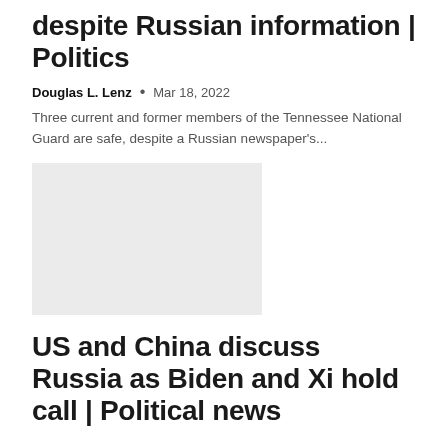despite Russian information | Politics
Douglas L. Lenz • Mar 18, 2022
Three current and former members of the Tennessee National Guard are safe, despite a Russian newspaper's...
[Figure (photo): Gray placeholder image for a news article thumbnail]
US and China discuss Russia as Biden and Xi hold call | Political news